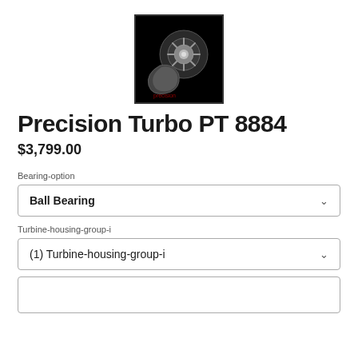[Figure (photo): Turbocharger product photo on black background, showing a precision turbo compressor wheel and housing, with 'precision' text watermark]
Precision Turbo PT 8884
$3,799.00
Bearing-option
Ball Bearing
Turbine-housing-group-i
(1) Turbine-housing-group-i